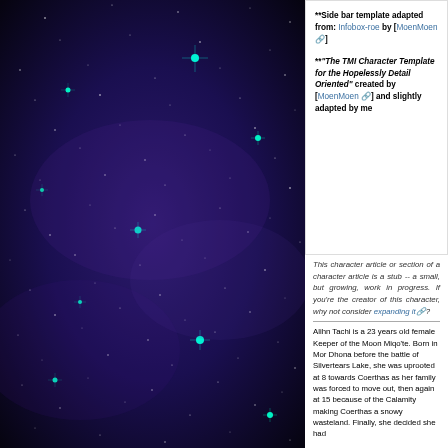[Figure (photo): Dark starry night sky with purple/blue hues and teal/cyan colored bright stars on the left side of the page]
**Side bar template adapted from: Infobox-roe by [MoenMoen]
**"The TMI Character Template for the Hopelessly Detail Oriented" created by [MoenMoen] and slightly adapted by me
This character article or section of a character article is a stub -- a small, but growing, work in progress. If you're the creator of this character, why not consider expanding it?
Alihn Tachi is a 23 years old female Keeper of the Moon Miqo'te. Born in Mor Dhona before the battle of Silvertears Lake, she was uprooted at 8 towards Coerthas as her family was forced to move out, then again at 15 because of the Calamity making Coerthas a snowy wasteland. Finally, she decided she had